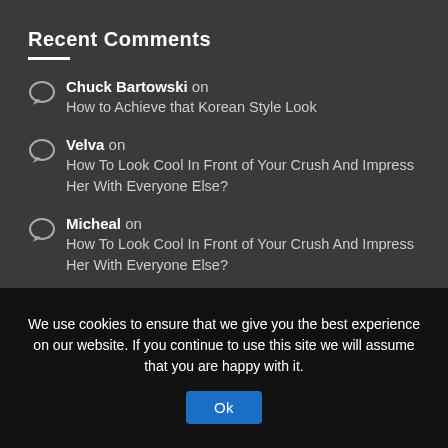Recent Comments
Chuck Bartowski on How to Achieve that Korean Style Look
Velva on How To Look Cool In Front of Your Crush And Impress Her With Everyone Else?
Micheal on How To Look Cool In Front of Your Crush And Impress Her With Everyone Else?
Jestine on How To Look Cool In Front of Your Crush And Impress Her
We use cookies to ensure that we give you the best experience on our website. If you continue to use this site we will assume that you are happy with it.